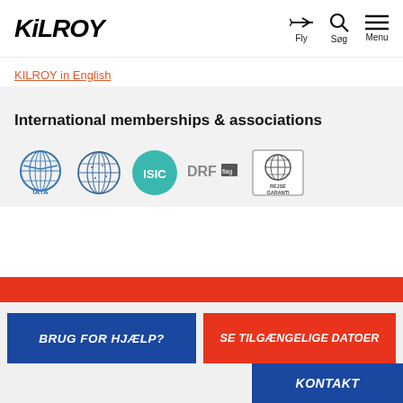KiLROY
KILROY in English
International memberships & associations
[Figure (logo): Row of membership logos: IATA, globe/WYSE, ISIC, DRF, Rejse Garanti]
BRUG FOR HJÆLP?
SE TILGÆNGELIGE DATOER
KONTAKT